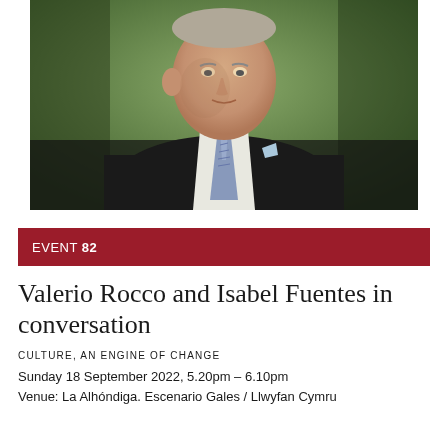[Figure (photo): Portrait photograph of an elderly man in a dark suit with a patterned tie and light blue pocket square, set against a blurred green foliage background]
EVENT 82
Valerio Rocco and Isabel Fuentes in conversation
CULTURE, AN ENGINE OF CHANGE
Sunday 18 September 2022, 5.20pm – 6.10pm
Venue: La Alhóndiga. Escenario Gales / Llwyfan Cymru